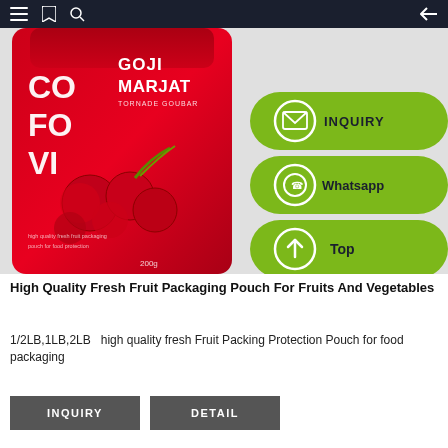Navigation bar with menu, bookmark, search, and back icons
[Figure (photo): Red goji berry packaging pouch (Goji Marjat) with green side action buttons for Inquiry, Whatsapp, and Top]
High Quality Fresh Fruit Packaging Pouch For Fruits And Vegetables
1/2LB,1LB,2LB  high quality fresh Fruit Packing Protection Pouch for food packaging
INQUIRY
DETAIL